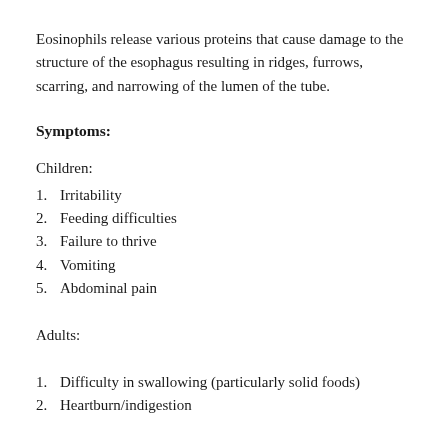Eosinophils release various proteins that cause damage to the structure of the esophagus resulting in ridges, furrows, scarring, and narrowing of the lumen of the tube.
Symptoms:
Children:
1. Irritability
2. Feeding difficulties
3. Failure to thrive
4. Vomiting
5. Abdominal pain
Adults:
1. Difficulty in swallowing (particularly solid foods)
2. Heartburn/indigestion